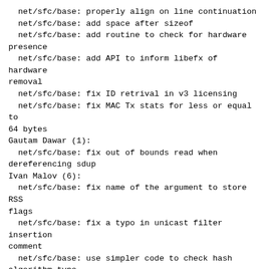net/sfc/base: properly align on line continuation
net/sfc/base: add space after sizeof
net/sfc/base: add routine to check for hardware presence
net/sfc/base: add API to inform libefx of hardware removal
net/sfc/base: fix ID retrival in v3 licensing
net/sfc/base: fix MAC Tx stats for less or equal to 64 bytes
Gautam Dawar (1):
net/sfc/base: fix out of bounds read when dereferencing sdup
Ivan Malov (6):
net/sfc/base: fix name of the argument to store RSS flags
net/sfc/base: fix a typo in unicast filter insertion comment
net/sfc/base: use simpler code to check hash algorithm type
net/sfc/base: check buffer size for hash flags
net/sfc/base: simplify the code to parse RSS hash type
net/sfc/base: improve handling of legacy RSS hash flags
Mark Spender (3):
net/sfc/base: remove probes when a Tx queue is too full